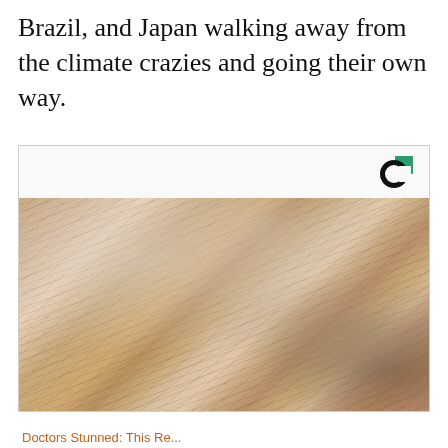Brazil, and Japan walking away from the climate crazies and going their own way.
[Figure (photo): Close-up photograph of an elderly person's face showing extremely dry, severely wrinkled skin with a pale, flaky appearance, possibly showing a skin condition or mask-like texture. A logo (circular with green accent) is visible in the upper right of the card.]
Doctors Stunned: This Re...